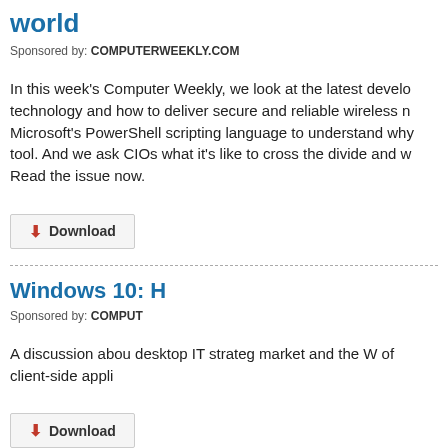world
Sponsored by: COMPUTERWEEKLY.COM
In this week's Computer Weekly, we look at the latest develo technology and how to deliver secure and reliable wireless n Microsoft's PowerShell scripting language to understand why tool. And we ask CIOs what it's like to cross the divide and w Read the issue now.
Download
Windows 10: H
Sponsored by: COMPUT
A discussion abou desktop IT strateg market and the W of client-side appli
Download
Windows 10: H
Sponsored by: COMPUT
We value your privacy. TechTarget and its partners employ cookies to improve your experience on our site, to analyze traffic and performance, and to serve personalized content and advertising that are relevant to your professional interests. You can manage your settings at any time. Please view our Privacy Policy for more information
OK
Settings